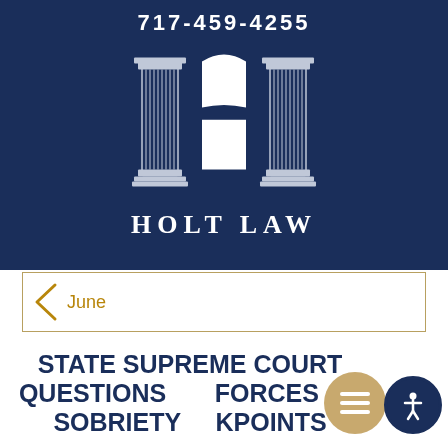[Figure (logo): Holt Law firm logo with two classical columns forming the letter H, arch and square shape in center, on dark navy background]
717-459-4255
HOLT LAW
June
STATE SUPREME COURT QUESTIONS FORCES AND SOBRIETY CHECKPOINTS